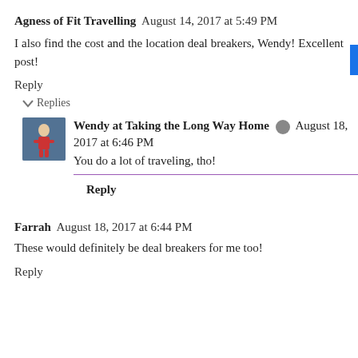Agness of Fit Travelling  August 14, 2017 at 5:49 PM
I also find the cost and the location deal breakers, Wendy! Excellent post!
Reply
Replies
[Figure (photo): Avatar photo of a person in athletic clothing running in a race]
Wendy at Taking the Long Way Home  August 18, 2017 at 6:46 PM
You do a lot of traveling, tho!
Reply
Farrah  August 18, 2017 at 6:44 PM
These would definitely be deal breakers for me too!
Reply